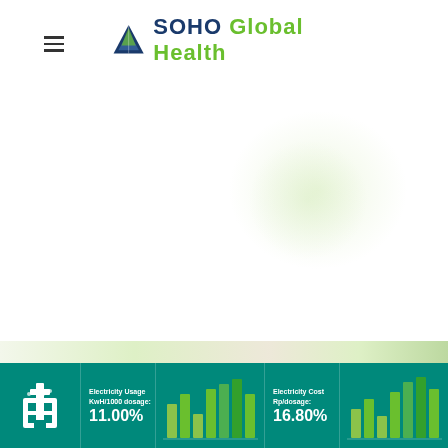≡  SOHO Global Health
[Figure (infographic): SOHO Global Health banner at page bottom showing electricity usage and cost metrics with bar charts: Electricity Usage KwH/1000 dosage: 11.00%, Electricity Cost Rp/dosage: 16.80%]
[Figure (photo): Partial decorative background image with green/organic shapes visible at bottom of page]